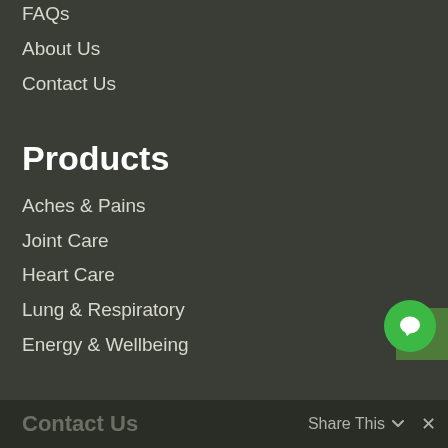FAQs
About Us
Contact Us
Products
Aches & Pains
Joint Care
Heart Care
Lung & Respiratory
Energy & Wellbeing
Contact Us   Share This ∨   ×